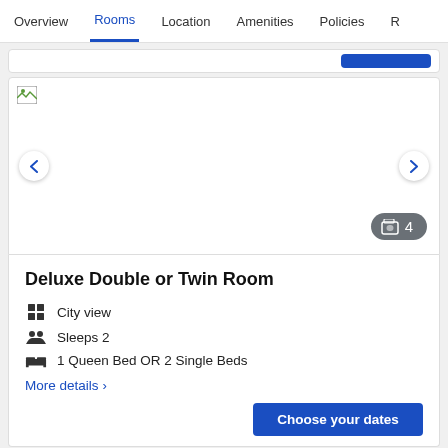Overview | Rooms | Location | Amenities | Policies | R
[Figure (screenshot): Hotel room image carousel with broken image placeholder, left and right navigation arrows, and a photo count badge showing 4 photos]
Deluxe Double or Twin Room
City view
Sleeps 2
1 Queen Bed OR 2 Single Beds
More details >
Choose your dates